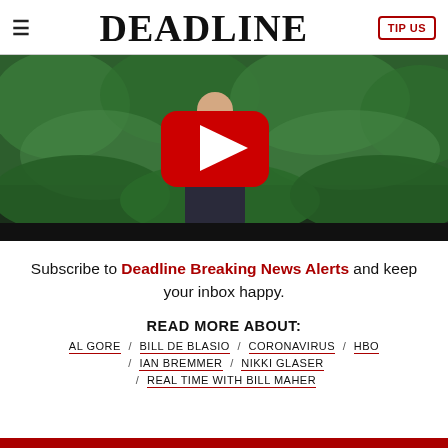≡  DEADLINE  TIP US
[Figure (screenshot): YouTube video thumbnail showing a man in a dark suit standing in front of green foliage, with a red YouTube play button overlay in the center]
Subscribe to Deadline Breaking News Alerts and keep your inbox happy.
READ MORE ABOUT:
AL GORE / BILL DE BLASIO / CORONAVIRUS / HBO / IAN BREMMER / NIKKI GLASER / REAL TIME WITH BILL MAHER